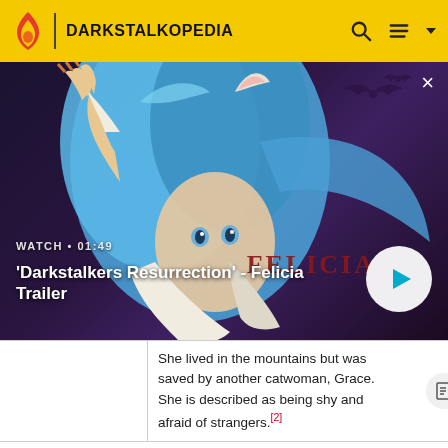DARKSTALKOPEDIA
[Figure (screenshot): Darkstalkers Resurrection Felicia character artwork — anime-style catwoman with blue hair, white fur, reaching out claws, against a dark moody background with bats. Overlaid with video player UI showing WATCH 01:49 label and play button.]
'Darkstalkers Resurrection' - Felicia Trailer
She lived in the mountains but was saved by another catwoman, Grace. She is described as being shy and afraid of strangers.[2]
Grace
Grace, a 24 year old catwoman from